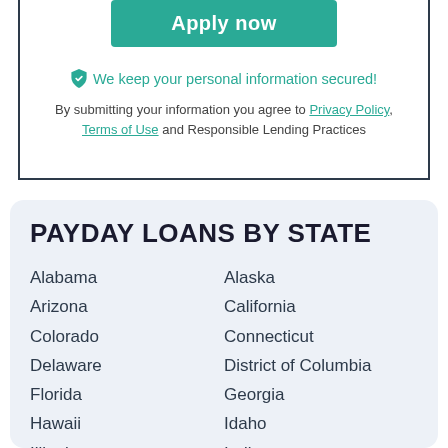Apply now
🛡 We keep your personal information secured!
By submitting your information you agree to Privacy Policy, Terms of Use and Responsible Lending Practices
PAYDAY LOANS BY STATE
Alabama
Alaska
Arizona
California
Colorado
Connecticut
Delaware
District of Columbia
Florida
Georgia
Hawaii
Idaho
Illinois
Indiana